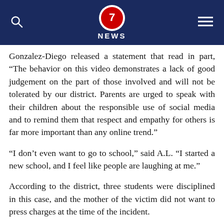7 NEWS
Gonzalez-Diego released a statement that read in part, “The behavior on this video demonstrates a lack of good judgement on the part of those involved and will not be tolerated by our district. Parents are urged to speak with their children about the responsible use of social media and to remind them that respect and empathy for others is far more important than any online trend.”
“I don’t even want to go to school,” said A.L. “I started a new school, and I feel like people are laughing at me.”
According to the district, three students were disciplined in this case, and the mother of the victim did not want to press charges at the time of the incident.